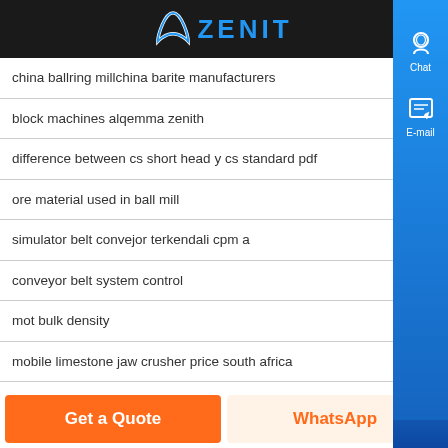[Figure (logo): Zenit company logo with white arc icon and blue ZENIT text on dark background]
china ballring millchina barite manufacturers
block machines alqemma zenith
difference between cs short head y cs standard pdf
ore material used in ball mill
simulator belt convejor terkendali cpm a
conveyor belt system control
mot bulk density
mobile limestone jaw crusher price south africa
capacity of vibrating feeder for coal
Get a Quote
WhatsApp